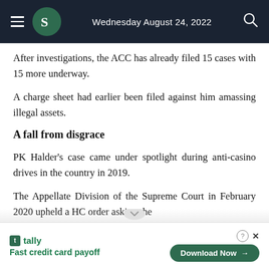Wednesday August 24, 2022
After investigations, the ACC has already filed 15 cases with 15 more underway.
A charge sheet had earlier been filed against him amassing illegal assets.
A fall from disgrace
PK Halder's case came under spotlight during anti-casino drives in the country in 2019.
The Appellate Division of the Supreme Court in February 2020 upheld a HC order asking the
[Figure (infographic): Tally advertisement banner with 'Fast credit card payoff' tagline and 'Download Now' button]